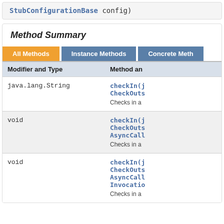StubConfigurationBase config)
Method Summary
| Modifier and Type | Method an... |
| --- | --- |
| java.lang.String | checkIn(j... CheckOuts... Checks in a... |
| void | checkIn(j... CheckOuts... AsyncCall... Checks in a... |
| void | checkIn(j... CheckOuts... AsyncCall... Invocatio... Checks in a... |